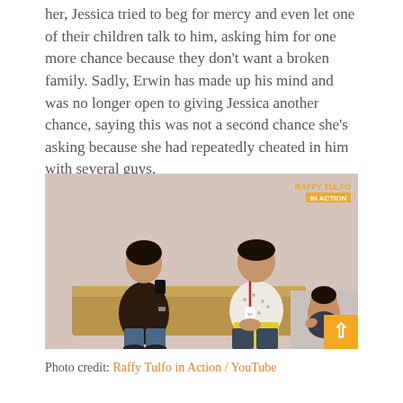her, Jessica tried to beg for mercy and even let one of their children talk to him, asking him for one more chance because they don't want a broken family. Sadly, Erwin has made up his mind and was no longer open to giving Jessica another chance, saying this was not a second chance she's asking because she had repeatedly cheated in him with several guys.
[Figure (photo): Video screenshot from Raffy Tulfo in Action YouTube channel showing two men sitting on a couch in conversation, with a sign-language interpreter in a small picture-in-picture box at the bottom right. An orange watermark reading 'RAFFY TULFO IN ACTION' is visible in the top right corner.]
Photo credit: Raffy Tulfo in Action / YouTube